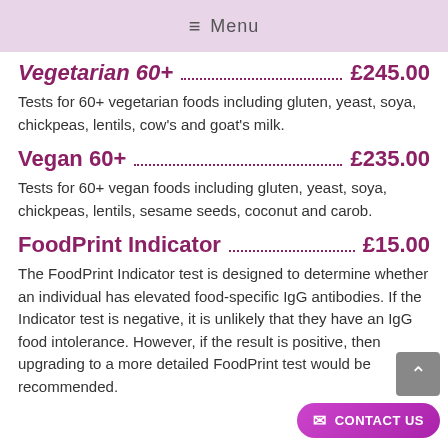≡ Menu
Vegetarian 60+ £245.00
Tests for 60+ vegetarian foods including gluten, yeast, soya, chickpeas, lentils, cow's and goat's milk.
Vegan 60+ £235.00
Tests for 60+ vegan foods including gluten, yeast, soya, chickpeas, lentils, sesame seeds, coconut and carob.
FoodPrint Indicator £15.00
The FoodPrint Indicator test is designed to determine whether an individual has elevated food-specific IgG antibodies. If the Indicator test is negative, it is unlikely that they have an IgG food intolerance. However, if the result is positive, then upgrading to a more detailed FoodPrint test would be recommended.